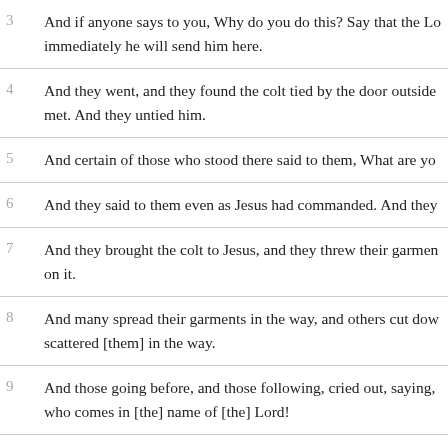3  And if anyone says to you, Why do you do this? Say that the Lo immediately he will send him here.
4  And they went, and they found the colt tied by the door outside met. And they untied him.
5  And certain of those who stood there said to them, What are yo
6  And they said to them even as Jesus had commanded. And they
7  And they brought the colt to Jesus, and they threw their garmen on it.
8  And many spread their garments in the way, and others cut dow scattered [them] in the way.
9  And those going before, and those following, cried out, saying, who comes in [the] name of [the] Lord!
10  Blessed is the kingdom of our father David, that comes in [the]